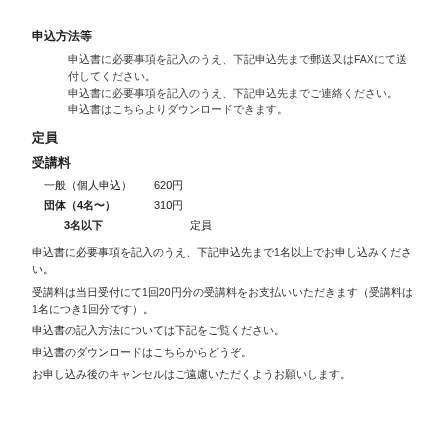申込方法等
申込書に必要事項を記入のうえ、下記申込先まで郵送又はFAXにて送付してください。申込書は下記よりダウンロードできます。
定員
受講料
一般（個人申込）　620円
団体（4名～）　310円
3名以下　　　　定員
申込書に必要事項を記入のうえ、下記申込先まで1名以上でお申し込みください。
受講料は当日受付にて1回20円分の受講料をお支払いいただきます（受講料は1名につき1回分です）。
申込書の記入方法については下記をご覧ください。
申込書のダウンロードはこちらからどうぞ。
お申し込み後のキャンセルはご遠慮いただくようお願いします。